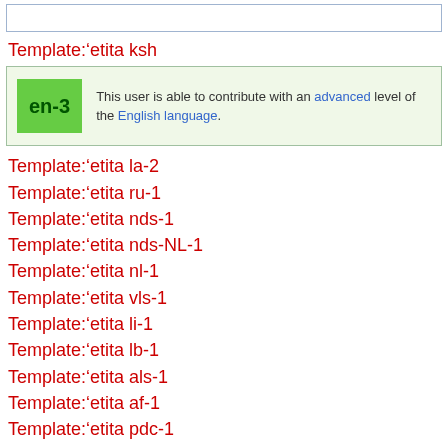[Figure (screenshot): Top blue-bordered input box, partially visible]
Template:'etita ksh
[Figure (infographic): en-3 language userbox: green badge with 'en-3', text: This user is able to contribute with an advanced level of the English language.]
Template:'etita la-2
Template:'etita ru-1
Template:'etita nds-1
Template:'etita nds-NL-1
Template:'etita nl-1
Template:'etita vls-1
Template:'etita li-1
Template:'etita lb-1
Template:'etita als-1
Template:'etita af-1
Template:'etita pdc-1